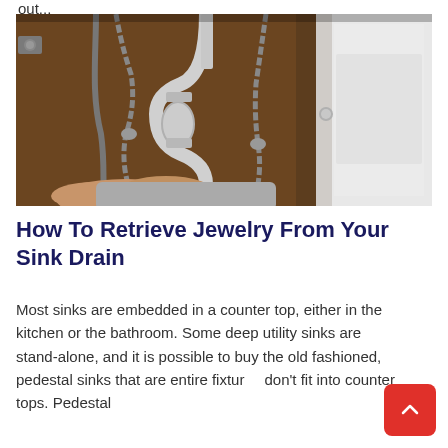out...
[Figure (photo): Under-sink cabinet showing plumbing pipes, P-trap in white plastic, flexible hoses, and a cabinet door hinge. A hand is visible at the bottom of the frame holding or reaching toward something.]
How To Retrieve Jewelry From Your Sink Drain
Most sinks are embedded in a counter top, either in the kitchen or the bathroom. Some deep utility sinks are stand-alone, and it is possible to buy the old fashioned, pedestal sinks that are entire fixtures that don't fit into counter tops. Pedestal